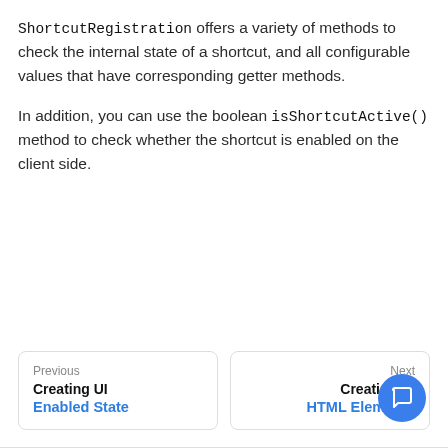ShortcutRegistration offers a variety of methods to check the internal state of a shortcut, and all configurable values that have corresponding getter methods.

In addition, you can use the boolean isShortcutActive() method to check whether the shortcut is enabled on the client side.
Previous
Creating UI
Enabled State
Next
Creating UI
HTML Elements